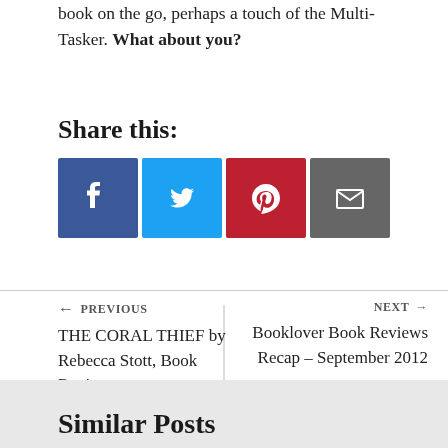book on the go, perhaps a touch of the Multi-Tasker. What about you?
Share this:
[Figure (infographic): Four social sharing buttons: Facebook (blue), Twitter (light blue), Pinterest (red), Email (gray)]
← PREVIOUS
THE CORAL THIEF by Rebecca Stott, Book Review
NEXT →
Booklover Book Reviews Recap – September 2012
Similar Posts